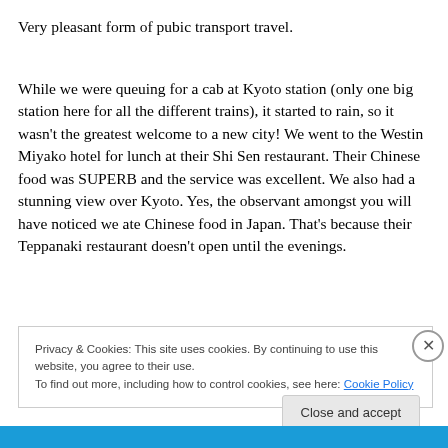Very pleasant form of pubic transport travel.
While we were queuing for a cab at Kyoto station (only one big station here for all the different trains), it started to rain, so it wasn't the greatest welcome to a new city! We went to the Westin Miyako hotel for lunch at their Shi Sen restaurant. Their Chinese food was SUPERB and the service was excellent. We also had a stunning view over Kyoto. Yes, the observant amongst you will have noticed we ate Chinese food in Japan. That's because their Teppanaki restaurant doesn't open until the evenings.
Privacy & Cookies: This site uses cookies. By continuing to use this website, you agree to their use.
To find out more, including how to control cookies, see here: Cookie Policy
Close and accept